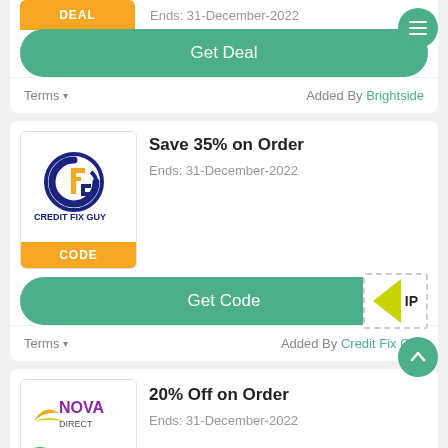Ends: 31-December-2022
Get Deal
Terms ∨   Added By Brightside
Save 35% on Order
Ends: 31-December-2022
Get Code
Terms ∨   Added By Credit Fix Guy
20% Off on Order
Ends: 31-December-2022